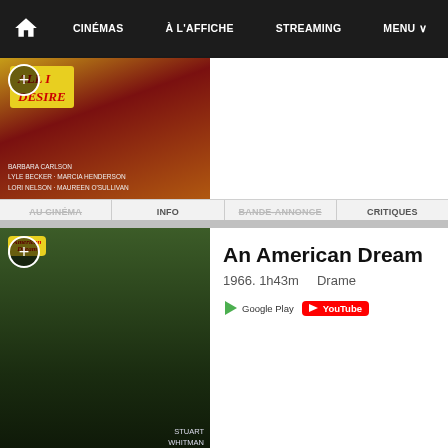CINÉMAS | À L'AFFICHE | STREAMING | MENU
[Figure (screenshot): Movie poster for All I Desire (partial, cropped at top)]
AU CINÉMA  INFO  BANDE-ANNONCE  CRITIQUES
An American Dream
1966. 1h43m  Drame
[Figure (logo): Google Play and YouTube streaming icons]
AU CINÉMA  INFO  BANDE-ANNONCE  CRITIQUES
The Anderson Platoon
« La Section Anderson » s.-t.ang.
1967. 1h05m  Documentaire de guerre
AU CINÉMA  INFO  BANDE-ANNONCE  CRITIQUES
The Battle of Bloody Stones
alias « Cimarron Strip: The Battle of Bloody Stones »
1967. 1h14m  Western